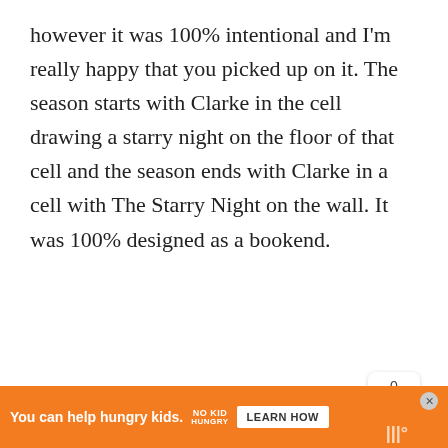however it was 100% intentional and I'm really happy that you picked up on it. The season starts with Clarke in the cell drawing a starry night on the floor of that cell and the season ends with Clarke in a cell with The Starry Night on the wall. It was 100% designed as a bookend.
One of our writers came up with that as th painting that should be on the wall a name is Kira Snyder and instantly we knew it
[Figure (screenshot): Share widget showing count 0 and share icon]
[Figure (screenshot): BuddyTV 'What's Next' widget with logo]
[Figure (screenshot): Advertisement banner: 'You can help hungry kids. NO KID HUNGRY. LEARN HOW' on orange background]
ha... ut there be... lliko...